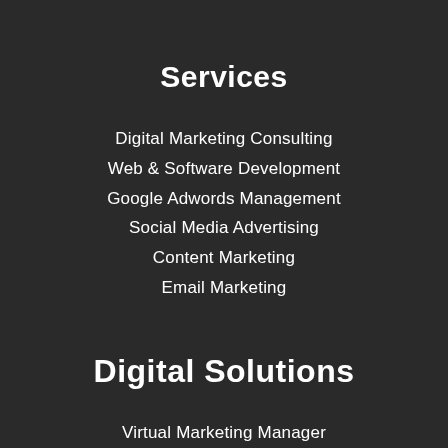Services
Digital Marketing Consulting
Web & Software Development
Google Adwords Management
Social Media Advertising
Content Marketing
Email Marketing
Digital Solutions
Virtual Marketing Manager
Multi-Channel Strategy